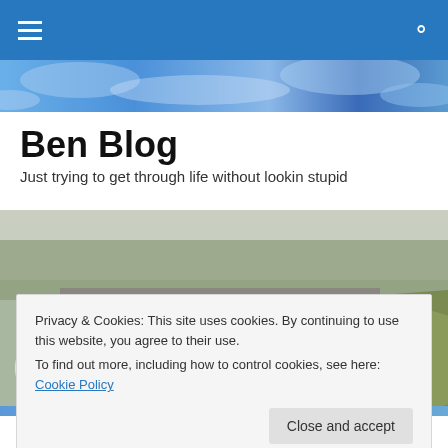Ben Blog — navigation bar with hamburger menu and search icon
[Figure (photo): Blue and white abstract ice/water texture header strip]
Ben Blog
Just trying to get through life without lookin stupid
[Figure (photo): Outdoor photo of a dam or bridge with red trains/vehicles, grassy hill, trees, and a person in white on the left]
[Figure (photo): Blue abstract background strip below main photo]
Privacy & Cookies: This site uses cookies. By continuing to use this website, you agree to their use.
To find out more, including how to control cookies, see here: Cookie Policy
[Close and accept button]
Okafor is ready to move on, rather than accept what the